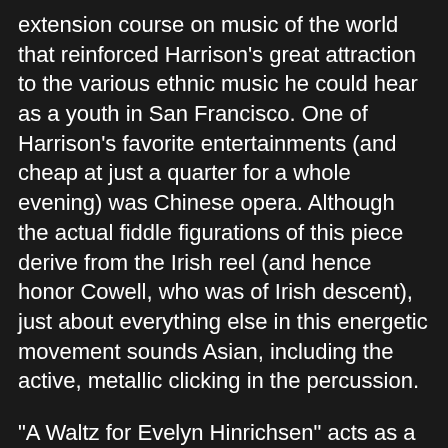extension course on music of the world that reinforced Harrison's great attraction to the various ethnic music he could hear as a youth in San Francisco. One of Harrison's favorite entertainments (and cheap at just a quarter for a whole evening) was Chinese opera. Although the actual fiddle figurations of this piece derive from the Irish reel (and hence honor Cowell, who was of Irish descent), just about everything else in this energetic movement sounds Asian, including the active, metallic clicking in the percussion.
"A Waltz for Evelyn Hinrichsen" acts as a contrasting slow trio in this quasi-scherzo structure. It is a delicate and relaxing piece. The final of the three scherzo movements is called "An Estampie for Susan Summerfield." Harrison has often used the French term "estampie" or an English cognate for it, "stampede," to denote bright, almost aggressive, pieces with a rhythm deriving from the medieval estampie and strong unison melodies.
The third movement, Largo ostinato, opens with a broad-vista sound that suggests fantasy landscape in its bright shafts of trumpet and high flute sonorities. A lovely and